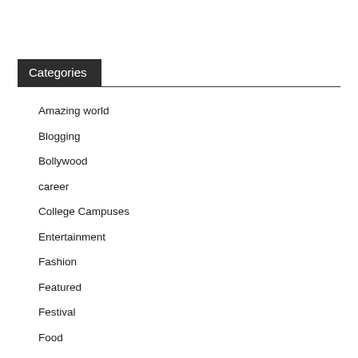Categories
Amazing world
Blogging
Bollywood
career
College Campuses
Entertainment
Fashion
Featured
Festival
Food